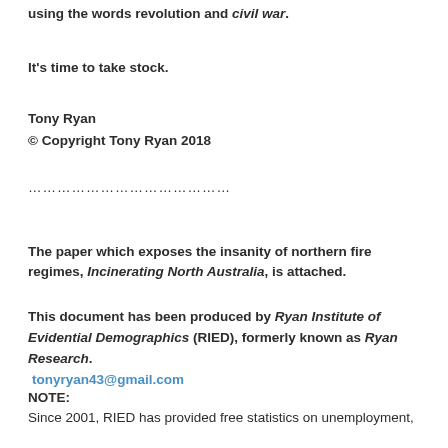using the words revolution and civil war.
It's time to take stock.
Tony Ryan
© Copyright Tony Ryan 2018
……………………………………
The paper which exposes the insanity of northern fire regimes, Incinerating North Australia, is attached.
This document has been produced by Ryan Institute of Evidential Demographics (RIED), formerly known as Ryan Research. tonyryan43@gmail.com
NOTE:
Since 2001, RIED has provided free statistics on unemployment,